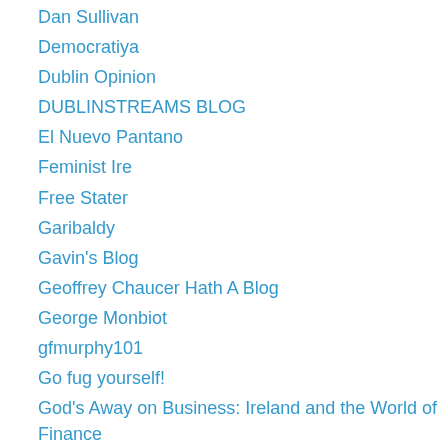Dan Sullivan
Democratiya
Dublin Opinion
DUBLINSTREAMS BLOG
El Nuevo Pantano
Feminist Ire
Free Stater
Garibaldy
Gavin's Blog
Geoffrey Chaucer Hath A Blog
George Monbiot
gfmurphy101
Go fug yourself!
God's Away on Business: Ireland and the World of Finance
Greenmans occasional organ
Hardcore for Nerds
harpymarx
Harry's Place
Hatfull of History
http://dublinstreams.blogspot.ie/